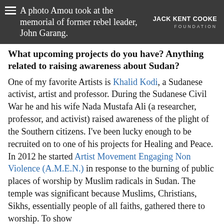A photo Amou took at the memorial of former rebel leader, John Garang.
What upcoming projects do you have? Anything related to raising awareness about Sudan?
One of my favorite Artists is Khalid Kodi, a Sudanese activist, artist and professor. During the Sudanese Civil War he and his wife Nada Mustafa Ali (a researcher, professor, and activist) raised awareness of the plight of the Southern citizens. I've been lucky enough to be recruited on to one of his projects for Healing and Peace. In 2012 he started Artist Movement Engaging Non Violence (A.M.E.N.) in response to the burning of public places of worship by Muslim radicals in Sudan. The temple was significant because Muslims, Christians, Sikhs, essentially people of all faiths, gathered there to worship. To show